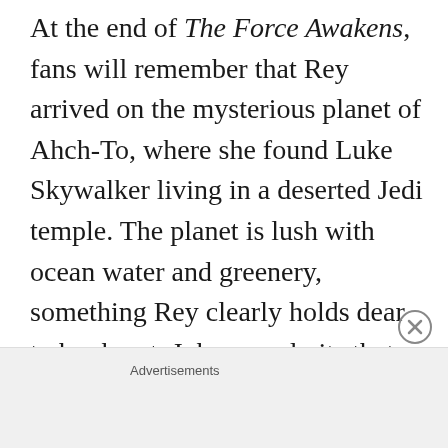At the end of The Force Awakens, fans will remember that Rey arrived on the mysterious planet of Ahch-To, where she found Luke Skywalker living in a deserted Jedi temple. The planet is lush with ocean water and greenery, something Rey clearly holds dear to her heart. Johnson admits that while it would have much easier to film in front of a green screen, it just wouldn't have the same aura that practical filming has.
Anything for the perfect shot, right?
Advertisements